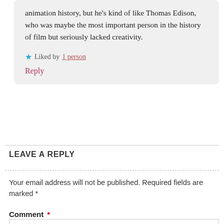animation history, but he's kind of like Thomas Edison, who was maybe the most important person in the history of film but seriously lacked creativity.
★ Liked by 1 person
Reply
LEAVE A REPLY
Your email address will not be published. Required fields are marked *
Comment *